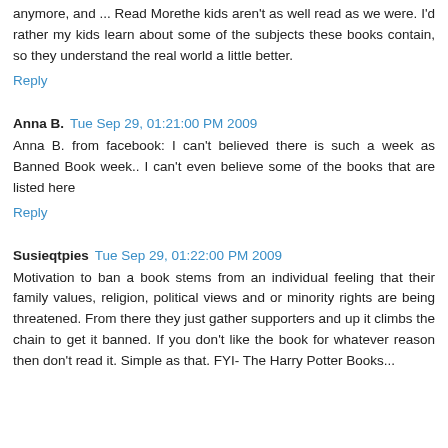anymore, and ... Read Morethe kids aren't as well read as we were. I'd rather my kids learn about some of the subjects these books contain, so they understand the real world a little better.
Reply
Anna B.  Tue Sep 29, 01:21:00 PM 2009
Anna B. from facebook: I can't believed there is such a week as Banned Book week.. I can't even believe some of the books that are listed here
Reply
Susieqtpies  Tue Sep 29, 01:22:00 PM 2009
Motivation to ban a book stems from an individual feeling that their family values, religion, political views and or minority rights are being threatened. From there they just gather supporters and up it climbs the chain to get it banned. If you don't like the book for whatever reason then don't read it. Simple as that. FYI- The Harry Potter Books...